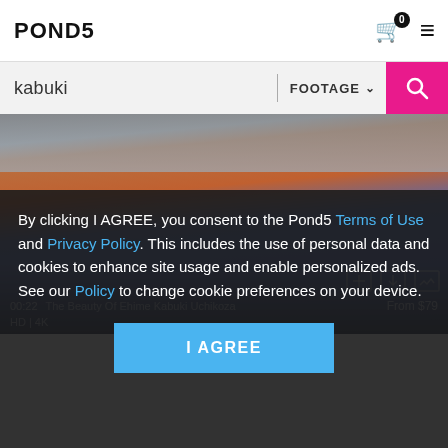POND5
kabuki | FOOTAGE
[Figure (photo): Aerial/ground-level view of colorful paving tiles (red/brown and blue) with a traditional Japanese theater building (Kabuki-za) in the background. Dark overlay with video metadata showing '00:22 The Beauty Of Ehime Kabuki Uchikoza From $79 HD']
By clicking I AGREE, you consent to the Pond5 Terms of Use and Privacy Policy. This includes the use of personal data and cookies to enhance site usage and enable personalized ads. See our Policy to change cookie preferences on your device.
I AGREE